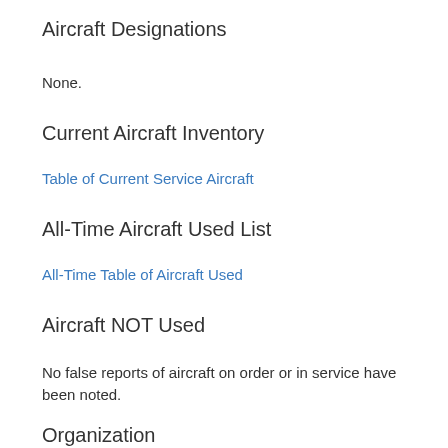Aircraft Designations
None.
Current Aircraft Inventory
Table of Current Service Aircraft
All-Time Aircraft Used List
All-Time Table of Aircraft Used
Aircraft NOT Used
No false reports of aircraft on order or in service have been noted.
Organization